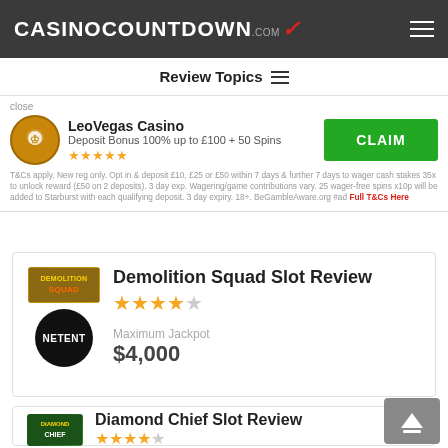CASINOCOUNTDOWN.COM
Review Topics
close
LeoVegas Casino
Deposit Bonus 100% up to £100 + 50 Spins
★★★★★
T&Cs apply. New reg only. Opt in & deposit £10, £25 or £50 within 7 days & further 7 days to wager cash stakes 35x to unlock reward (£50 on 2 deposits). 3 day exp. Wagering/game contributions vary. 25 wager-free spins x10p will be added to Starburst with each qualifying deposit. 3 day expiry. 18+. BeGambleAware.org #ad Full T&Cs Here
Demolition Squad Slot Review
Maximum Jackpot
$4,000
Diamond Chief Slot Review